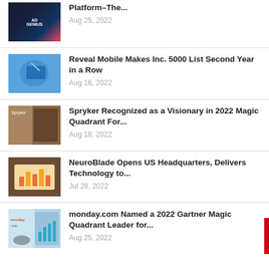[Figure (photo): Article thumbnail: dark tech/laptop image with red accent, AD GENIUS logo]
Platform–The...
Aug 25, 2022
[Figure (photo): Article thumbnail: person holding smartphone with digital interface]
Reveal Mobile Makes Inc. 5000 List Second Year in a Row
Aug 16, 2022
[Figure (photo): Article thumbnail: Spryker logo with businessperson at desk]
Spryker Recognized as a Visionary in 2022 Magic Quadrant For...
Aug 18, 2022
[Figure (photo): Article thumbnail: tablet showing bar charts and analytics dashboard]
NeuroBlade Opens US Headquarters, Delivers Technology to...
Jul 28, 2022
[Figure (photo): Article thumbnail: monday.com logo with bar chart on screen and glasses]
monday.com Named a 2022 Gartner Magic Quadrant Leader for...
Aug 25, 2022